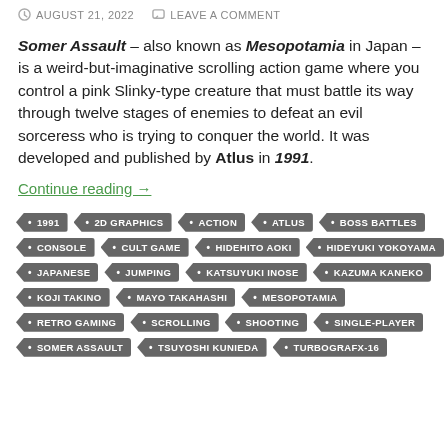AUGUST 21, 2022   LEAVE A COMMENT
Somer Assault – also known as Mesopotamia in Japan – is a weird-but-imaginative scrolling action game where you control a pink Slinky-type creature that must battle its way through twelve stages of enemies to defeat an evil sorceress who is trying to conquer the world. It was developed and published by Atlus in 1991.
Continue reading →
1991
2D GRAPHICS
ACTION
ATLUS
BOSS BATTLES
CONSOLE
CULT GAME
HIDEHITO AOKI
HIDEYUKI YOKOYAMA
JAPANESE
JUMPING
KATSUYUKI INOSE
KAZUMA KANEKO
KOJI TAKINO
MAYO TAKAHASHI
MESOPOTAMIA
RETRO GAMING
SCROLLING
SHOOTING
SINGLE-PLAYER
SOMER ASSAULT
TSUYOSHI KUNIEDA
TURBOGRAFX-16